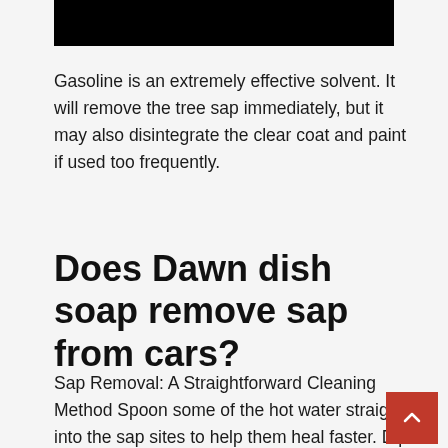[Figure (photo): Black rectangle at top of page, partially visible image cropped]
Gasoline is an extremely effective solvent. It will remove the tree sap immediately, but it may also disintegrate the clear coat and paint if used too frequently.
Does Dawn dish soap remove sap from cars?
Sap Removal: A Straightforward Cleaning Method Spoon some of the hot water straight into the sap sites to help them heal faster. Dip the microfiber cloth into the hot water and dab a few drops of dish soap over the surface of the cloth before drying. Once